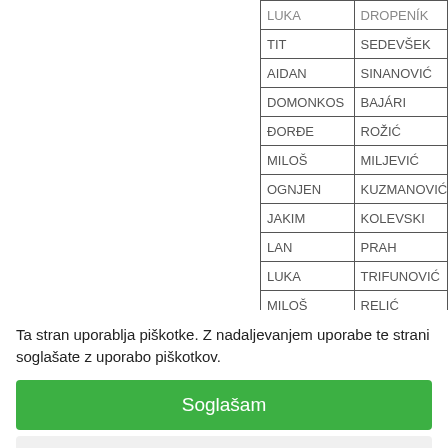| First Name | Last Name |
| --- | --- |
| LUKA | DROPENÍK |
| TIT | SEDEVŠEK |
| AIDAN | SINANOVIĆ |
| DOMONKOS | BAJÁRI |
| ĐORĐE | ROŽIĆ |
| MILOŠ | MILJEVIĆ |
| OGNJEN | KUZMANOVIĆ |
| JAKIM | KOLEVSKI |
| LAN | PRAH |
| LUKA | TRIFUNOVIĆ |
| MILOŠ | RELIĆ |
| NIKOLA | VULEVIĆ |
| TRISTAN | ZEMLJIČ |
| UROŠ | BOJANIĆ |
| ALEKS | ŠVELC |
Ta stran uporablja piškotke. Z nadaljevanjem uporabe te strani soglašate z uporabo piškotkov.
Soglašam
Zavrni